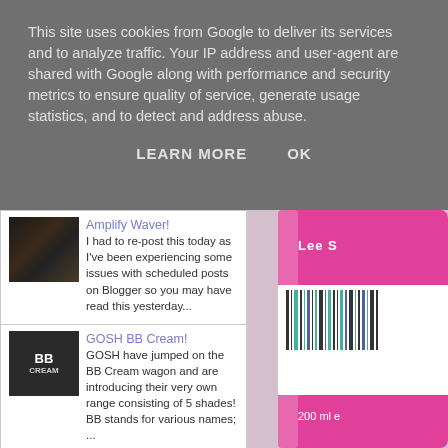This site uses cookies from Google to deliver its services and to analyze traffic. Your IP address and user-agent are shared with Google along with performance and security metrics to ensure quality of service, generate usage statistics, and to detect and address abuse.
LEARN MORE   OK
Amplify Waver! I had to re-post this today as I've been experiencing some issues with scheduled posts on Blogger so you may have read this yesterday...
GOSH BB Cream! GOSH have jumped on the BB Cream wagon and are introducing their very own range consisting of 5 shades! BB stands for various names; ...
[Figure (photo): Pink bottle of Lee Stafford POKeR STRAiGHT hair product, 200 ml, with barcode visible]